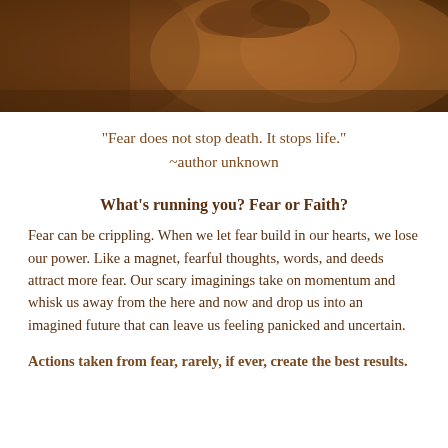[Figure (photo): Bronze or copper relief sculpture showing a profile of a human face/head with curly hair, in brownish tones.]
"Fear does not stop death. It stops life."
~author unknown
What's running you? Fear or Faith?
Fear can be crippling. When we let fear build in our hearts, we lose our power. Like a magnet, fearful thoughts, words, and deeds attract more fear. Our scary imaginings take on momentum and whisk us away from the here and now and drop us into an imagined future that can leave us feeling panicked and uncertain.
Actions taken from fear, rarely, if ever, create the best results.